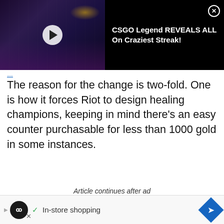[Figure (screenshot): Top banner ad: dark video thumbnail with play button on left, text 'CSGO Legend REVEALS ALL On Craziest Streak!' on dark background on right with close X button]
The reason for the change is two-fold. One is how it forces Riot to design healing champions, keeping in mind there's an easy counter purchasable for less than 1000 gold in some instances.
Article continues after ad
[Figure (screenshot): Advertisement unit with light gray background, concentric circle graphic, black square and small square decorations, close X button in corner]
[Figure (screenshot): Bottom advertisement bar: play icon, infinity logo circle, checkmark, 'In-store shopping' text, blue diamond arrow button, X dismiss button]